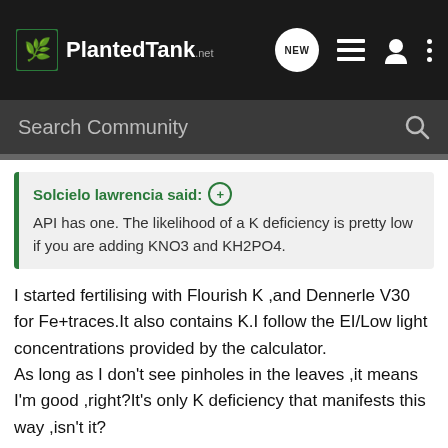PlantedTank
Search Community
Solcielo lawrencia said: API has one. The likelihood of a K deficiency is pretty low if you are adding KNO3 and KH2PO4.
I started fertilising with Flourish K ,and Dennerle V30 for Fe+traces.It also contains K.I follow the EI/Low light concentrations provided by the calculator.
As long as I don't see pinholes in the leaves ,it means I'm good ,right?It's only K deficiency that manifests this way ,isn't it?
Can't come to work today ,Boss.......I've got Bolbitis...